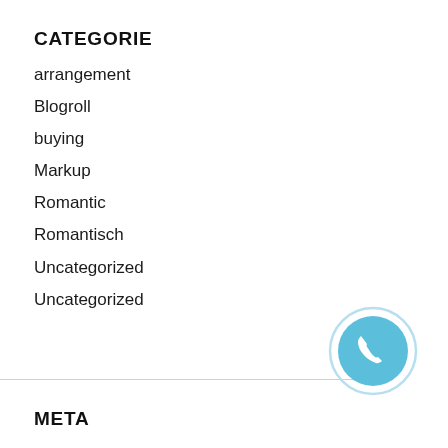CATEGORIE
arrangement
Blogroll
buying
Markup
Romantic
Romantisch
Uncategorized
Uncategorized
[Figure (illustration): Light blue circular phone/call button icon with inner circle outline]
META